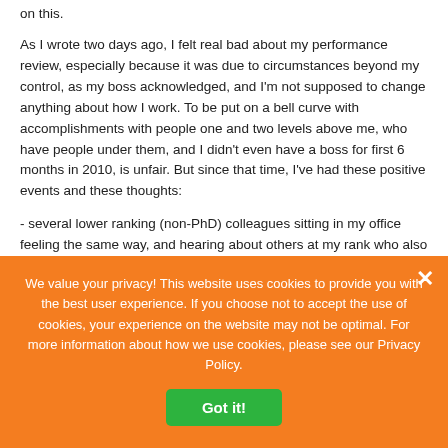on this.
As I wrote two days ago, I felt real bad about my performance review, especially because it was due to circumstances beyond my control, as my boss acknowledged, and I'm not supposed to change anything about how I work. To be put on a bell curve with accomplishments with people one and two levels above me, who have people under them, and I didn't even have a boss for first 6 months in 2010, is unfair. But since that time, I've had these positive events and these thoughts:
- several lower ranking (non-PhD) colleagues sitting in my office feeling the same way, and hearing about others at my rank who also received low ratings, and hearing that their bosses were...
We value your privacy! This website uses cookies to provide you with the best user experience. If you choose not to accept the use of cookies, your experience on the website may not be optimal. For more information about how we use cookies, please see our Privacy Policy.